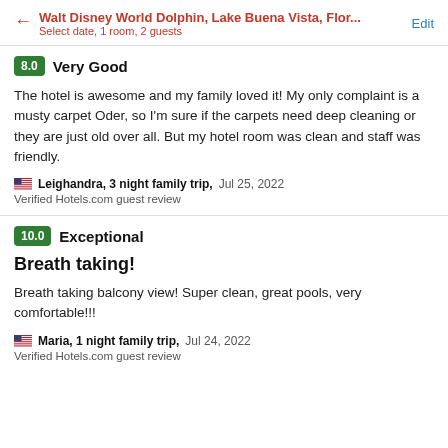Walt Disney World Dolphin, Lake Buena Vista, Flor... Edit
Select date, 1 room, 2 guests
8.0  Very Good
The hotel is awesome and my family loved it! My only complaint is a musty carpet Oder, so I'm sure if the carpets need deep cleaning or they are just old over all. But my hotel room was clean and staff was friendly.
🇺🇸 Leighandra, 3 night family trip, Jul 25, 2022
Verified Hotels.com guest review
10.0  Exceptional
Breath taking!
Breath taking balcony view! Super clean, great pools, very comfortable!!!
🇺🇸 Maria, 1 night family trip, Jul 24, 2022
Verified Hotels.com guest review